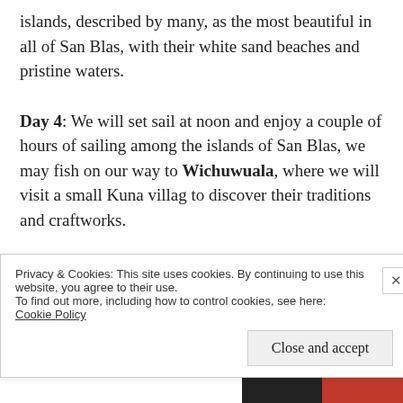islands, described by many, as the most beautiful in all of San Blas, with their white sand beaches and pristine waters.
Day 4: We will set sail at noon and enjoy a couple of hours of sailing among the islands of San Blas, we may fish on our way to Wichuwuala, where we will visit a small Kuna villag to discover their traditions and craftworks.
Day 5: Guest's disembark soon in the morning in El Porvenir, to take the flight back to
Privacy & Cookies: This site uses cookies. By continuing to use this website, you agree to their use.
To find out more, including how to control cookies, see here:
Cookie Policy